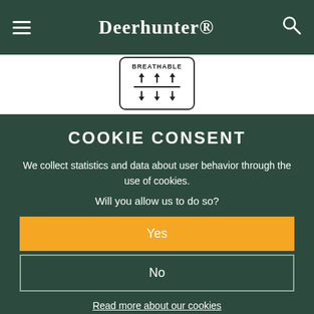Deerhunter
[Figure (illustration): Breathable fabric icon showing arrows pointing up through a horizontal line and arrows pointing down below it, with text BREATHABLE at top, inside a rounded rectangle border]
COOKIE CONSENT
We collect statistics and data about user behavior through the use of cookies.
Will you allow us to do so?
Yes
No
Read more about our cookies